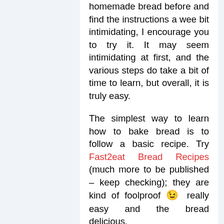homemade bread before and find the instructions a wee bit intimidating, I encourage you to try it. It may seem intimidating at first, and the various steps do take a bit of time to learn, but overall, it is truly easy.
The simplest way to learn how to bake bread is to follow a basic recipe. Try Fast2eat Bread Recipes (much more to be published – keep checking); they are kind of foolproof 😉 really easy and the bread delicious.
Using a bread maker tips and hints
While bread machines offer freshly baked bread at the push